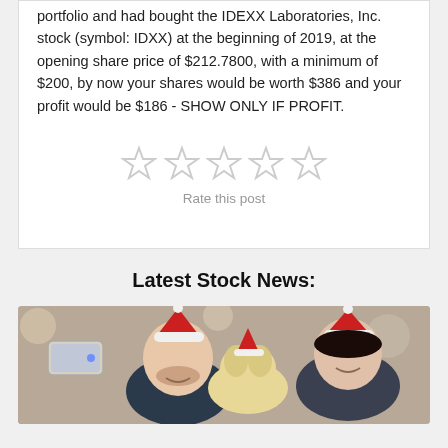portfolio and had bought the IDEXX Laboratories, Inc. stock (symbol: IDXX) at the beginning of 2019, at the opening share price of $212.7800, with a minimum of $200, by now your shares would be worth $386 and your profit would be $186 - SHOW ONLY IF PROFIT.
[Figure (other): Five empty star rating icons arranged horizontally, with 'Rate this post' text below]
Latest Stock News:
[Figure (photo): Two people and a dog wearing Santa hats taking a selfie, holiday/Christmas scene]